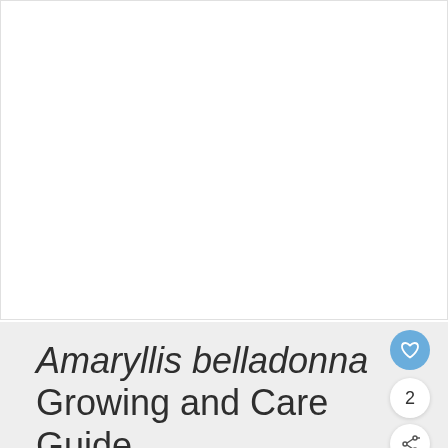[Figure (photo): Large white/blank image area at the top of the page, representing a photo placeholder for Amaryllis belladonna]
Amaryllis belladonna Growing and Care Guide